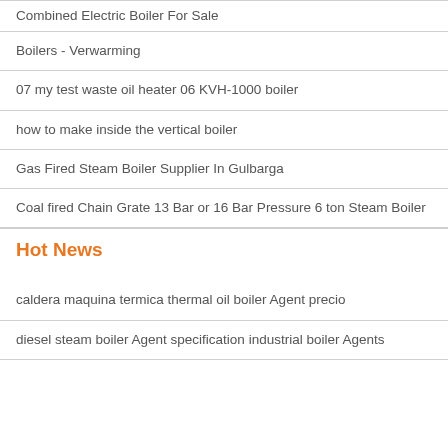Combined Electric Boiler For Sale
Boilers - Verwarming
07 my test waste oil heater 06 KVH-1000 boiler
how to make inside the vertical boiler
Gas Fired Steam Boiler Supplier In Gulbarga
Coal fired Chain Grate 13 Bar or 16 Bar Pressure 6 ton Steam Boiler
Hot News
caldera maquina termica thermal oil boiler Agent precio
diesel steam boiler Agent specification industrial boiler Agents